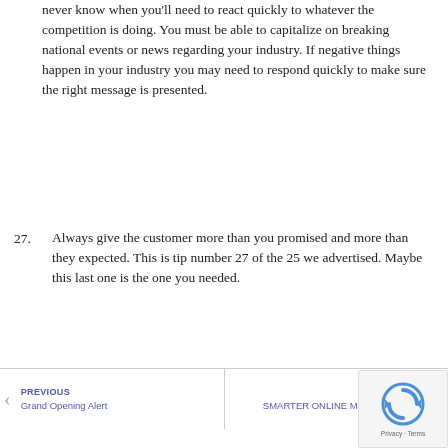never know when you'll need to react quickly to whatever the competition is doing. You must be able to capitalize on breaking national events or news regarding your industry. If negative things happen in your industry you may need to respond quickly to make sure the right message is presented.
27. Always give the customer more than you promised and more than they expected. This is tip number 27 of the 25 we advertised. Maybe this last one is the one you needed.
PREVIOUS Grand Opening Alert | NEXT SMARTER ONLINE MARKETING: 4 ...